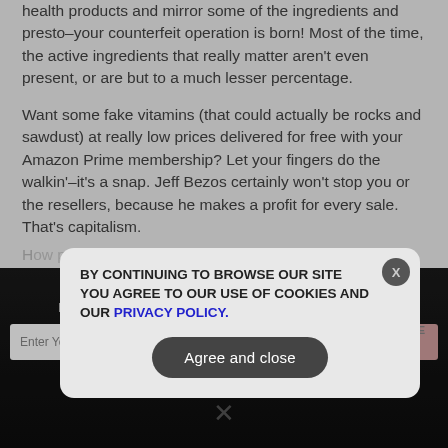health products and mirror some of the ingredients and presto–your counterfeit operation is born! Most of the time, the active ingredients that really matter aren't even present, or are but to a much lesser percentage.
Want some fake vitamins (that could actually be rocks and sawdust) at really low prices delivered for free with your Amazon Prime membership? Let your fingers do the walkin'–it's a snap. Jeff Bezos certainly won't stop you or the resellers, because he makes a profit for every sale. That's capitalism.
GET THE [obscured] INDEPENDENT MEDIA NEWSLETTER [obscured] TO YOUR INBOX.
Enter Your Email Address
SUBSCRIBE
[Figure (screenshot): Cookie consent popup overlay on a webpage. The popup reads: BY CONTINUING TO BROWSE OUR SITE YOU AGREE TO OUR USE OF COOKIES AND OUR PRIVACY POLICY. with an 'Agree and close' button and an X close button.]